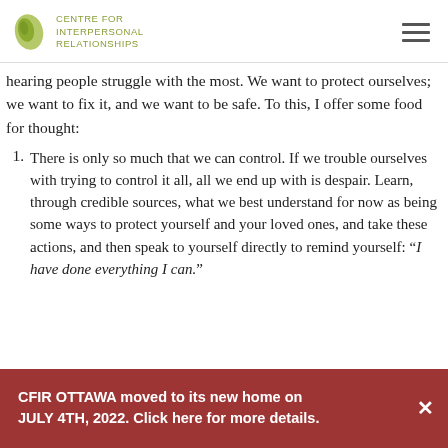CENTRE FOR INTERPERSONAL RELATIONSHIPS
hearing people struggle with the most. We want to protect ourselves; we want to fix it, and we want to be safe. To this, I offer some food for thought:
There is only so much that we can control. If we trouble ourselves with trying to control it all, all we end up with is despair. Learn, through credible sources, what we best understand for now as being some ways to protect yourself and your loved ones, and take these actions, and then speak to yourself directly to remind yourself: “I have done everything I can.”
CFIR OTTAWA moved to its new home on JULY 4TH, 2022. Click here for more details.